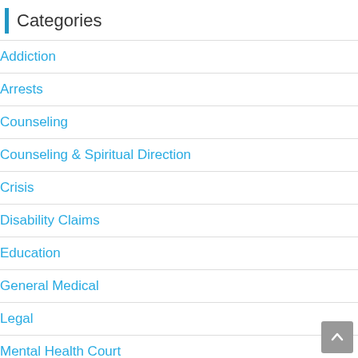Categories
Addiction
Arrests
Counseling
Counseling & Spiritual Direction
Crisis
Disability Claims
Education
General Medical
Legal
Mental Health Court
Psychiatry